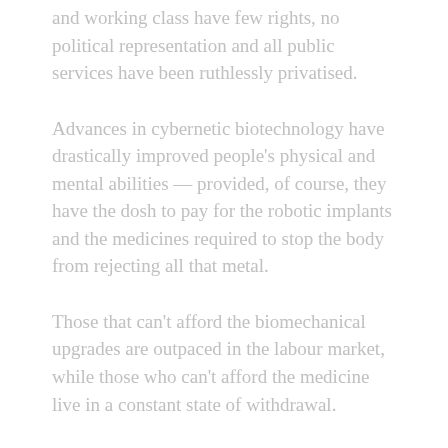and working class have few rights, no political representation and all public services have been ruthlessly privatised.
Advances in cybernetic biotechnology have drastically improved people's physical and mental abilities — provided, of course, they have the dosh to pay for the robotic implants and the medicines required to stop the body from rejecting all that metal.
Those that can't afford the biomechanical upgrades are outpaced in the labour market, while those who can't afford the medicine live in a constant state of withdrawal.
The text continues below the visible area...